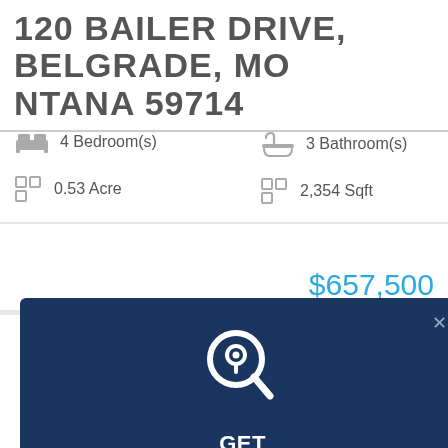120 BAILER DRIVE, BELGRADE, MONTANA 59714
4 Bedroom(s)
0.53 Acre
3 Bathroom(s)
2,354 Sqft
$657,500
[Figure (infographic): Dark navy blue popup modal with a magnifying glass location pin icon, close button (x), heading 'GET DYNAMIC UPDATES', and body text: 'Save a custom search on this page & I’ll email you instantly when a new listing matches the criteria.']